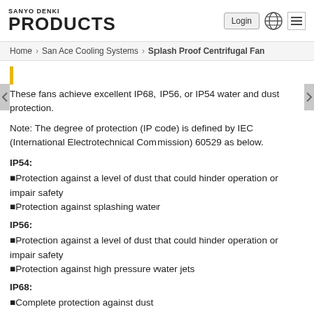SANYO DENKI PRODUCTS
Home > San Ace Cooling Systems > Splash Proof Centrifugal Fan
These fans achieve excellent IP68, IP56, or IP54 water and dust protection.
Note: The degree of protection (IP code) is defined by IEC (International Electrotechnical Commission) 60529 as below.
IP54:
Protection against a level of dust that could hinder operation or impair safety
Protection against splashing water
IP56:
Protection against a level of dust that could hinder operation or impair safety
Protection against high pressure water jets
IP68:
Complete protection against dust
Protection against submersion in water